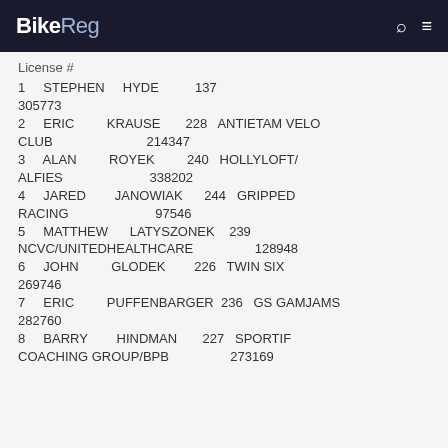BikeReg
License #
1   STEPHEN   HYDE   137
305773
2   ERIC   KRAUSE   228   ANTIETAM VELO CLUB   214347
3   ALAN   ROYEK   240   HOLLYLOFT/ALFIES   338202
4   JARED   JANOWIAK   244   GRIPPED RACING   97546
5   MATTHEW   LATYSZONEK   239   NCVC/UNITEDHEALTHCARE   128948
6   JOHN   GLODEK   226   TWIN SIX   269746
7   ERIC   PUFFENBARGER   236   GS GAMJAMS   282760
8   BARRY   HINDMAN   227   SPORTIF COACHING GROUP/BPB   273169